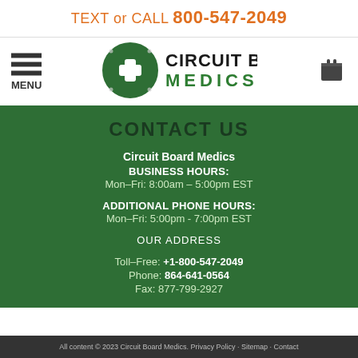TEXT or CALL 800-547-2049
[Figure (logo): Circuit Board Medics logo with green cross on circular emblem and text CIRCUIT BOARD MEDICS]
CONTACT US
Circuit Board Medics
BUSINESS HOURS:
Mon–Fri: 8:00am – 5:00pm EST
ADDITIONAL PHONE HOURS:
Mon–Fri: 5:00pm - 7:00pm EST
OUR ADDRESS
Toll–Free: +1-800-547-2049
Phone: 864-641-0564
Fax: 877-799-2927
All content © 2023 Circuit Board Medics. Privacy Policy · Sitemap